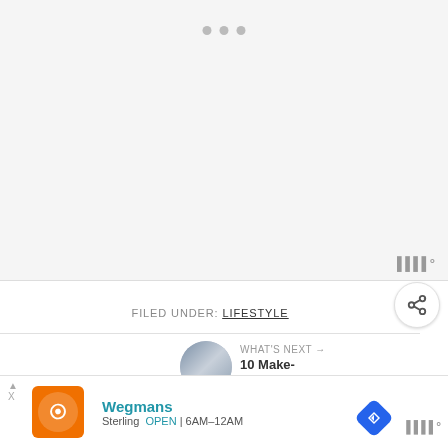[Figure (other): Slideshow/carousel image area with three dot indicators at top, light gray background]
FILED UNDER: LIFESTYLE
[Figure (other): Share/social button - circular white button with share icon (circle nodes connected)]
[Figure (other): What's Next panel with circular thumbnail of people and text '10 Make-Ahead...']
WHAT'S NEXT → 10 Make-Ahead...
Previous Post
[Figure (other): Ad banner for Wegmans showing orange logo, brand name, location Sterling, OPEN 6AM-12AM, navigation icon]